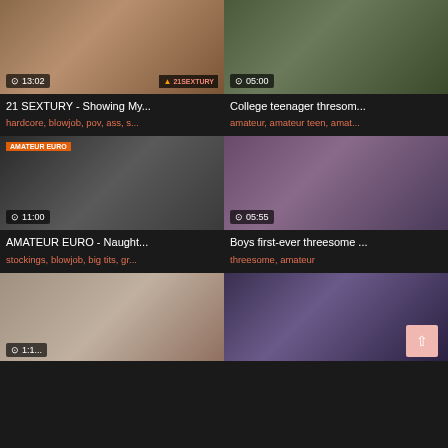[Figure (screenshot): Video thumbnail 1: 21 SEXTURY, duration 13:02]
21 SEXTURY - Showing My...
hardcore, blowjob, pov, ass, s...
[Figure (screenshot): Video thumbnail 2: College teenager threesome, duration 05:00]
College teenager thresom...
amateur, amateur teen, amat...
[Figure (screenshot): Video thumbnail 3: AMATEUR EURO, duration 11:00]
AMATEUR EURO - Naught...
stockings, blowjob, big tits, gr...
[Figure (screenshot): Video thumbnail 4: Boys first-ever threesome, duration 05:55]
Boys first-ever threesome ...
threesome, amateur
[Figure (screenshot): Video thumbnail 5: partial view, bottom left]
[Figure (screenshot): Video thumbnail 6: partial view, bottom right with scroll-to-top button]